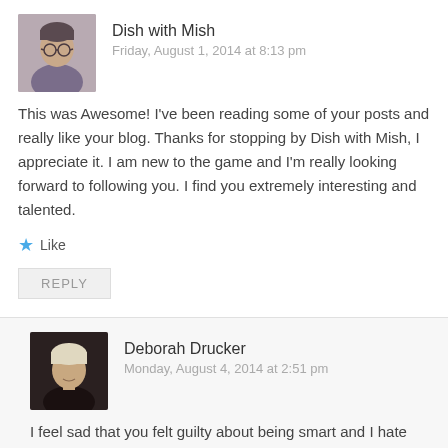[Figure (photo): Avatar photo of Dish with Mish, a person with glasses]
Dish with Mish
Friday, August 1, 2014 at 8:13 pm
This was Awesome! I've been reading some of your posts and really like your blog. Thanks for stopping by Dish with Mish, I appreciate it. I am new to the game and I'm really looking forward to following you. I find you extremely interesting and talented.
Like
REPLY
[Figure (photo): Avatar photo of Deborah Drucker, a woman with light hair]
Deborah Drucker
Monday, August 4, 2014 at 2:51 pm
I feel sad that you felt guilty about being smart and I hate that that teacher asked you to give the Latino point of view and the